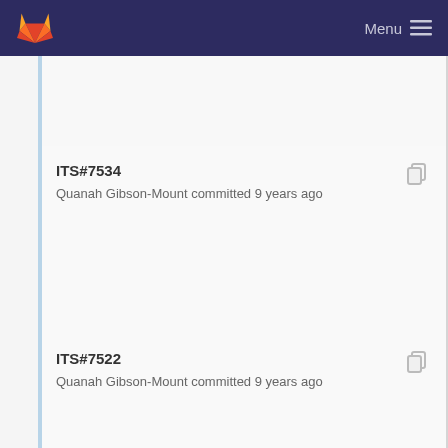Menu
ITS#7534
Quanah Gibson-Mount committed 9 years ago
ITS#7522
Quanah Gibson-Mount committed 9 years ago